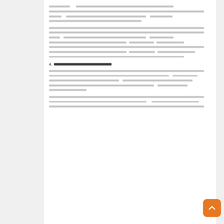[Redacted Thai legal text - paragraph 1]
[Redacted Thai legal text - paragraph 2]
[Redacted Thai legal text - paragraph 3]
4. [Redacted Thai section header]
[Redacted Thai legal text - paragraph 4]
[Redacted Thai legal text - paragraph 5]
[Redacted Thai legal text - paragraph 6]